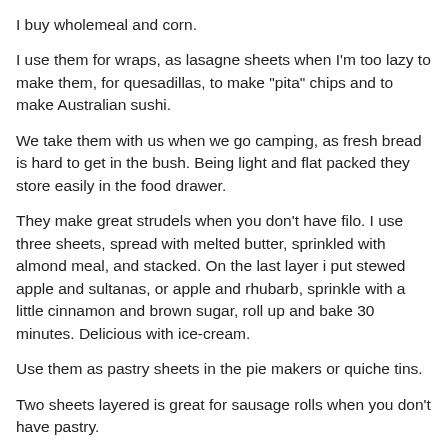I buy wholemeal and corn.
I use them for wraps, as lasagne sheets when I'm too lazy to make them, for quesadillas, to make "pita" chips and to make Australian sushi.
We take them with us when we go camping, as fresh bread is hard to get in the bush. Being light and flat packed they store easily in the food drawer.
They make great strudels when you don't have filo. I use three sheets, spread with melted butter, sprinkled with almond meal, and stacked. On the last layer i put stewed apple and sultanas, or apple and rhubarb, sprinkle with a little cinnamon and brown sugar, roll up and bake 30 minutes. Delicious with ice-cream.
Use them as pastry sheets in the pie makers or quiche tins.
Two sheets layered is great for sausage rolls when you don't have pastry.